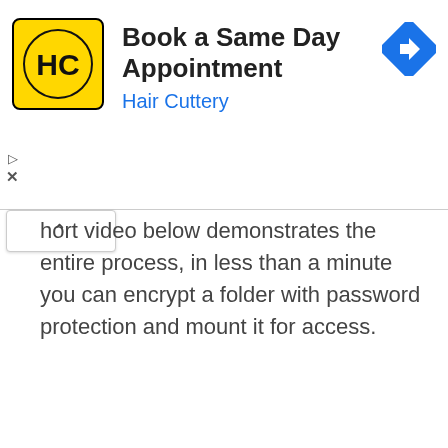[Figure (advertisement): Hair Cuttery advertisement banner with yellow logo showing 'HC' initials, title 'Book a Same Day Appointment', subtitle 'Hair Cuttery' in blue, and a blue navigation/directions diamond icon on the right]
short video below demonstrates the entire process, in less than a minute you can encrypt a folder with password protection and mount it for access.